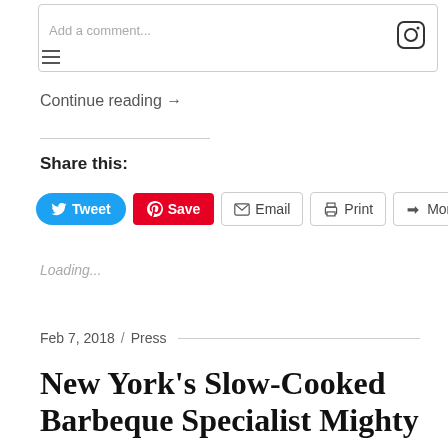[Figure (screenshot): Instagram embed comment box with 'Add a comment...' placeholder text and Instagram logo icon, with hamburger menu icon on the left]
Continue reading →
Share this:
Tweet  Save  Email  Print  More
Loading...
Feb 7, 2018 / Press
New York's Slow-Cooked Barbeque Specialist Mighty